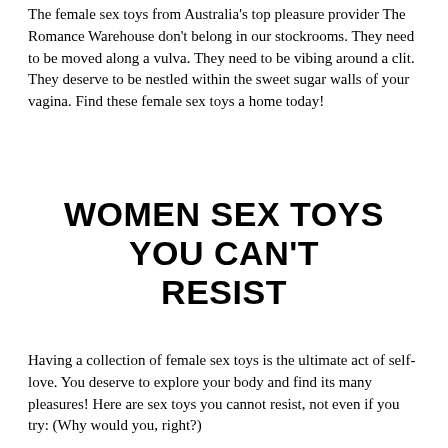The female sex toys from Australia's top pleasure provider The Romance Warehouse don't belong in our stockrooms. They need to be moved along a vulva. They need to be vibing around a clit. They deserve to be nestled within the sweet sugar walls of your vagina. Find these female sex toys a home today!
WOMEN SEX TOYS YOU CAN'T RESIST
Having a collection of female sex toys is the ultimate act of self-love. You deserve to explore your body and find its many pleasures! Here are sex toys you cannot resist, not even if you try: (Why would you, right?)